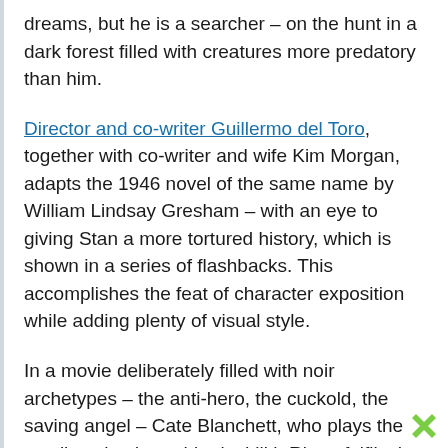dreams, but he is a searcher – on the hunt in a dark forest filled with creatures more predatory than him.
Director and co-writer Guillermo del Toro, together with co-writer and wife Kim Morgan, adapts the 1946 novel of the same name by William Lindsay Gresham – with an eye to giving Stan a more tortured history, which is shown in a series of flashbacks. This accomplishes the feat of character exposition while adding plenty of visual style.
In a movie deliberately filled with noir archetypes – the anti-hero, the cuckold, the saving angel – Cate Blanchett, who plays the scarily poised psychiatrist Lilith Ritter, fulfils the role of femme fatale without lapsing into